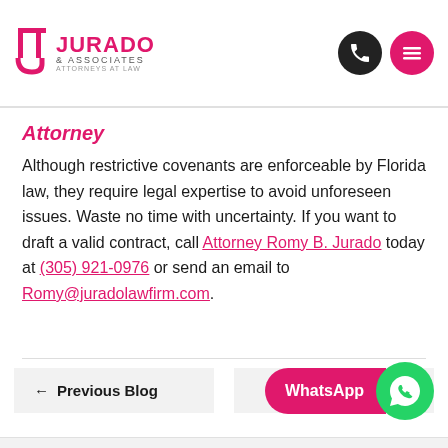[Figure (logo): Jurado & Associates Attorneys at Law logo with pink and black text]
Attorney
Although restrictive covenants are enforceable by Florida law, they require legal expertise to avoid unforeseen issues. Waste no time with uncertainty. If you want to draft a valid contract, call Attorney Romy B. Jurado today at (305) 921-0976 or send an email to Romy@juradolawfirm.com.
← Previous Blog
Next Blog →
WhatsApp